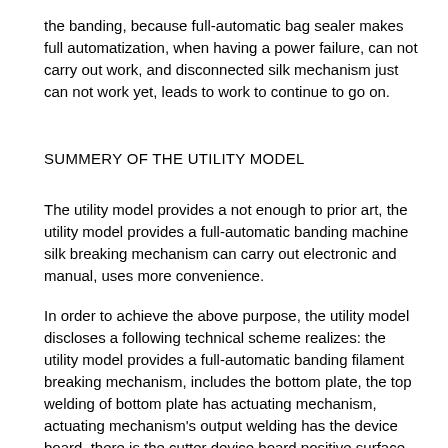the banding, because full-automatic bag sealer makes full automatization, when having a power failure, can not carry out work, and disconnected silk mechanism just can not work yet, leads to work to continue to go on.
SUMMERY OF THE UTILITY MODEL
The utility model provides a not enough to prior art, the utility model provides a full-automatic banding machine silk breaking mechanism can carry out electronic and manual, uses more convenience.
In order to achieve the above purpose, the utility model discloses a following technical scheme realizes: the utility model provides a full-automatic banding filament breaking mechanism, includes the bottom plate, the top welding of bottom plate has actuating mechanism, actuating mechanism's output welding has the device board, there is the cutter device board positive surface through bull stick swing joint, the right side welding of cutter has the handle, the top welding of bottom plate has the shell, the bottom subsides of shell inner wall are equipped with a supporting bench, a supporting bench's top pin joint has the motor, the output swivelling joint of motor has half fluted disc, the